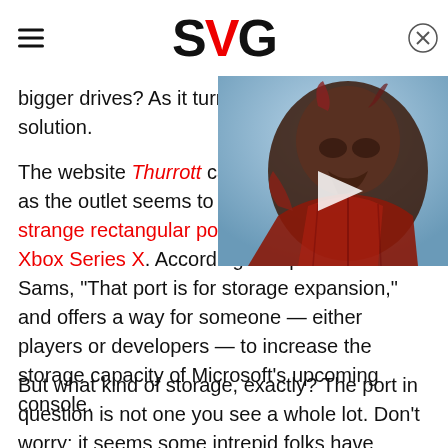SVG
[Figure (photo): Video thumbnail showing an alien/creature character from Mass Effect (Garrus or similar Turian) with red armor, dark background. A white play button triangle is overlaid in the center.]
bigger drives? As it turns out, solution.
The website Thurrott came th pretty big news, as the outlet seems to have identified that strange rectangular port on the back of the Xbox Series X. According to reporter Brad Sams, "That port is for storage expansion," and offers a way for someone — either players or developers — to increase the storage capacity of Microsoft's upcoming console.
But what kind of storage, exactly? The port in question is not one you see a whole lot. Don't worry: it seems some intrepid folks have figured that out, as well.